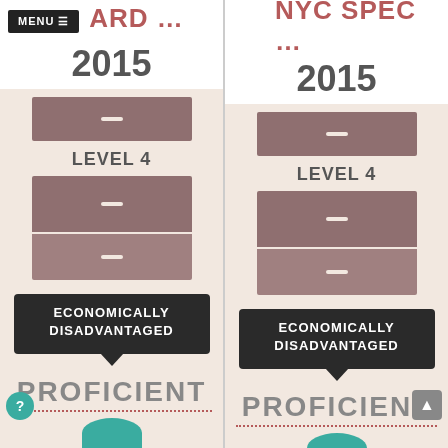MENU ≡ ARD ... | NYC SPEC ...
2015
2015
LEVEL 4
LEVEL 4
ECONOMICALLY DISADVANTAGED
ECONOMICALLY DISADVANTAGED
PROFICIENT
PROFICIENT